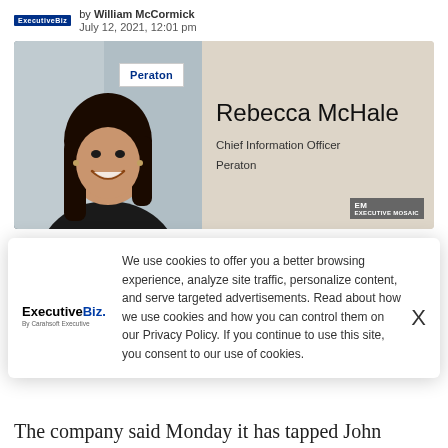by William McCormick
July 12, 2021, 12:01 pm
[Figure (photo): Profile photo of Rebecca McHale, Chief Information Officer at Peraton, with Peraton logo overlay. Executive Mosaic branding in corner.]
We use cookies to offer you a better browsing experience, analyze site traffic, personalize content, and serve targeted advertisements. Read about how we use cookies and how you can control them on our Privacy Policy. If you continue to use this site, you consent to our use of cookies.
The company said Monday it has tapped John